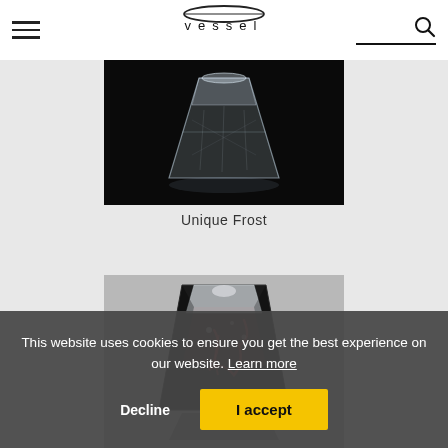vessel (logo with hamburger menu and search)
[Figure (photo): A translucent frosted glass object shaped like a truncated pyramid/cone on a black background]
Unique Frost
[Figure (photo): A dark crystal/glass object shaped like a truncated pyramid with reddish interior details on a light grey background]
This website uses cookies to ensure you get the best experience on our website. Learn more
Decline   I accept